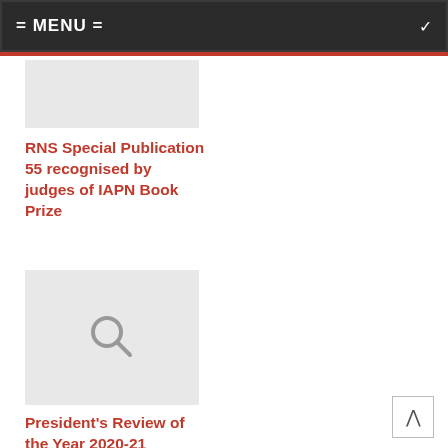= MENU =
[Figure (photo): Partial image placeholder (light gray rectangle, top cropped)]
RNS Special Publication 55 recognised by judges of IAPN Book Prize
[Figure (illustration): Gray placeholder image with a search/magnifying glass icon in the center]
President's Review of the Year 2020-21
[Figure (photo): Partial image placeholder (light gray rectangle, bottom cropped)]